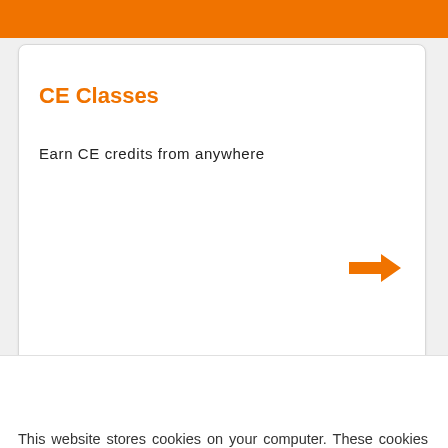CE Classes
Earn CE credits from anywhere
[Figure (other): Orange right-pointing arrow icon]
This website stores cookies on your computer. These cookies are used to collect information about how you interact with our website and allow us to remember you. We use this information in order to improve and customize your browsing experience and for analytics and metrics about our visitors both on this website and other media. To find out more about the cookies we use, see our Privacy Policy.
Accept ›